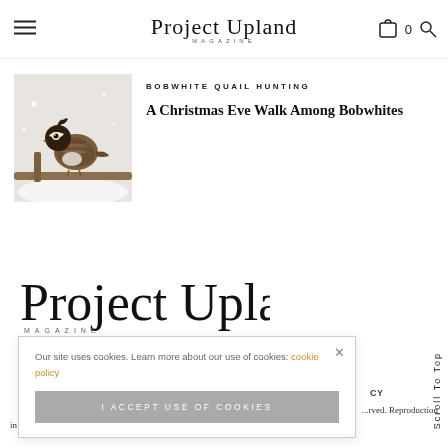Project Upland Magazine
[Figure (photo): Bobwhite quail perched on a snowy branch in winter]
BOBWHITE QUAIL HUNTING
A Christmas Eve Walk Among Bobwhites
[Figure (logo): Project Upland Magazine large footer logo]
Our site uses cookies. Learn more about our use of cookies: cookie policy
I ACCEPT USE OF COOKIES
Scroll To Top
CY
rved. Reproduction in whole or in part without the express permission of Project Upland is strictly